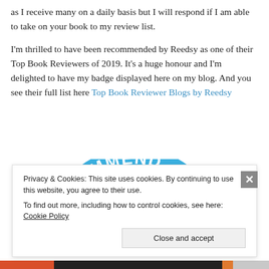as I receive many on a daily basis but I will respond if I am able to take on your book to my review list.
I'm thrilled to have been recommended by Reedsy as one of their Top Book Reviewers of 2019. It's a huge honour and I'm delighted to have my badge displayed here on my blog. And you see their full list here Top Book Reviewer Blogs by Reedsy
[Figure (illustration): Partial circular badge/seal with text 'RECOMMENDA...' in blue arc lettering on white background, cropped at bottom of visible area.]
Privacy & Cookies: This site uses cookies. By continuing to use this website, you agree to their use.
To find out more, including how to control cookies, see here: Cookie Policy